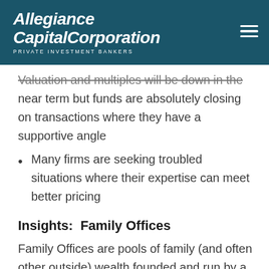Allegiance Capital Corporation — PRIVATE INVESTMENT BANKERS
Valuation and multiples will be down in the near term but funds are absolutely closing on transactions where they have a supportive angle
Many firms are seeking troubled situations where their expertise can meet better pricing
Insights:  Family Offices
Family Offices are pools of family (and often other outside) wealth founded and run by a small